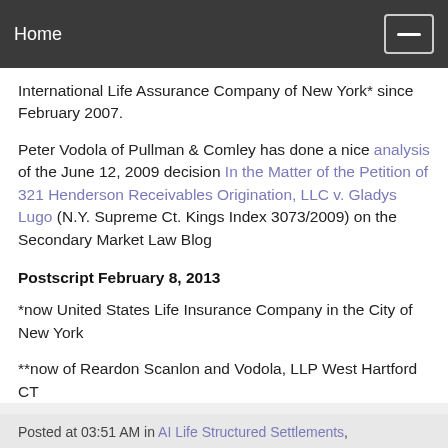Home
International Life Assurance Company of New York* since February 2007.
Peter Vodola of Pullman & Comley has done a nice analysis of the June 12, 2009 decision In the Matter of the Petition of 321 Henderson Receivables Origination, LLC v. Gladys Lugo (N.Y. Supreme Ct. Kings Index 3073/2009) on the Secondary Market Law Blog
Postscript February 8, 2013
*now United States Life Insurance Company in the City of New York
**now of Reardon Scanlon and Vodola, LLP West Hartford CT
Posted at 03:51 AM in AI Life Structured Settlements,